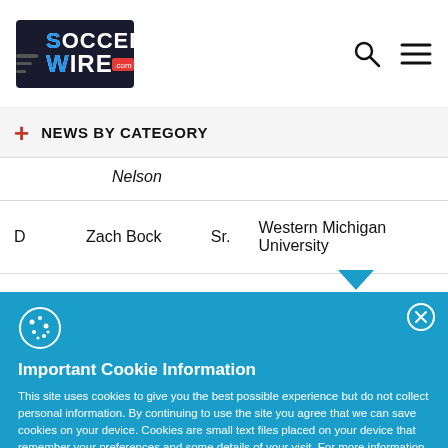SoccerWire.com
NEWS BY CATEGORY
| Pos | Name | Yr | School |
| --- | --- | --- | --- |
|  | Nelson |  |  |
| D | Zach Bock | Sr. | Western Michigan University |
| D | Fraser Colmer | Sr. | Radford University |
Important Cookie Information
This site uses cookies to give you the best possible experience but do not collect personal information. By continuing to use the site you agree that we can save cookies on your device. Cookies are small text files placed on your device that remember your preferences and some details of your visit. For more information and details of how to disable cookies, please read our privacy policy.
ACCEPT